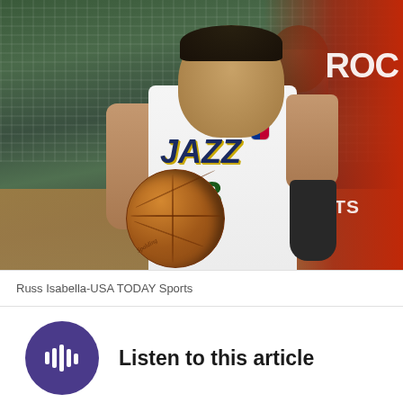[Figure (photo): NBA basketball player wearing Utah Jazz white jersey number 3 dribbling a basketball, with Houston Rockets players in orange jerseys nearby, crowd in background at arena.]
Russ Isabella-USA TODAY Sports
Listen to this article